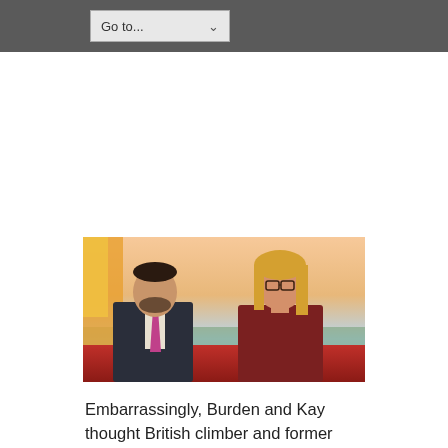Go to...
[Figure (screenshot): Two TV presenters, a man in a dark suit with a pink/magenta tie and a woman with blonde hair and glasses wearing a dark red top, seated at a news desk with a colorful sunrise cityscape backdrop.]
Embarrassingly, Burden and Kay thought British climber and former soldier Leslie Binns, 42 was with them